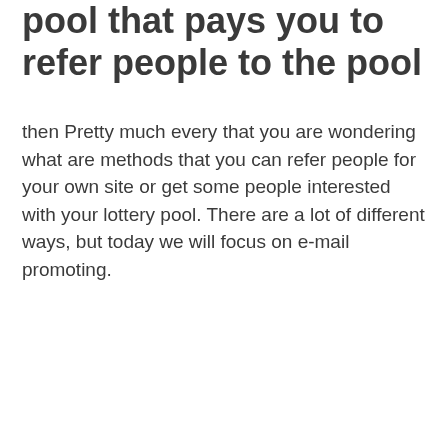pool that pays you to refer people to the pool
then Pretty much every that you are wondering what are methods that you can refer people for your own site or get some people interested with your lottery pool. There are a lot of different ways, but today we will focus on e-mail promoting.